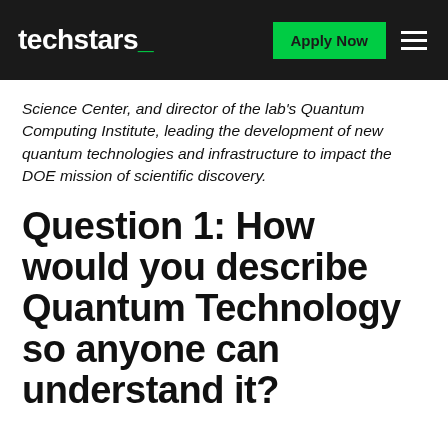techstars_ Apply Now
Science Center, and director of the lab's Quantum Computing Institute, leading the development of new quantum technologies and infrastructure to impact the DOE mission of scientific discovery.
Question 1: How would you describe Quantum Technology so anyone can understand it?